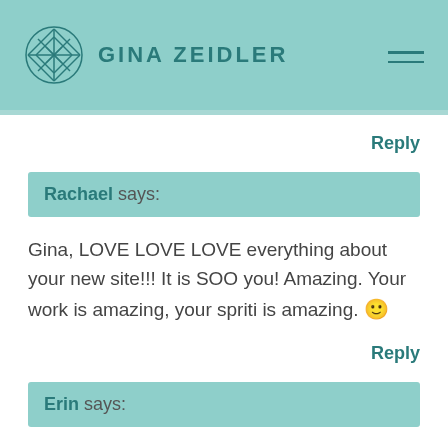GINA ZEIDLER
Reply
Rachael says:
Gina, LOVE LOVE LOVE everything about your new site!!! It is SOO you! Amazing. Your work is amazing, your spriti is amazing. 🙂
Reply
Erin says:
G! I love the new site! It's so beautiful and totally